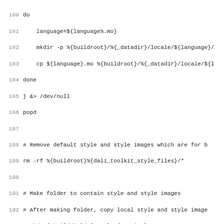Code listing lines 180-211 showing shell script for building dali-toolkit package